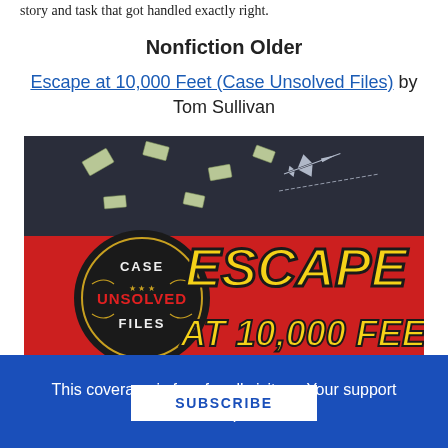story and task that got handled exactly right.
Nonfiction Older
Escape at 10,000 Feet (Case Unsolved Files) by Tom Sullivan
[Figure (photo): Book cover of 'Escape at 10,000 Feet' from the Case Unsolved Files series by Tom Sullivan. Dark background with flying dollar bills and airplane silhouette, red banner with bold yellow text reading ESCAPE AT 10,000 FEET, and a black circular badge reading CASE UNSOLVED FILES.]
This coverage is free for all visitors. Your support makes this possible.
SUBSCRIBE